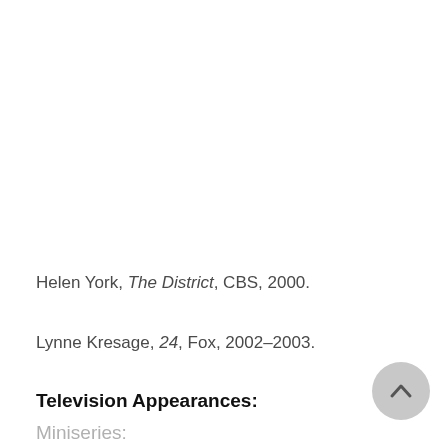Helen York, The District, CBS, 2000.
Lynne Kresage, 24, Fox, 2002–2003.
Television Appearances:
Miniseries: